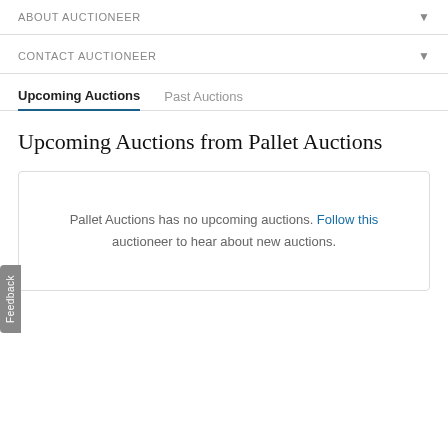ABOUT AUCTIONEER
CONTACT AUCTIONEER
Upcoming Auctions | Past Auctions
Upcoming Auctions from Pallet Auctions
Pallet Auctions has no upcoming auctions. Follow this auctioneer to hear about new auctions.